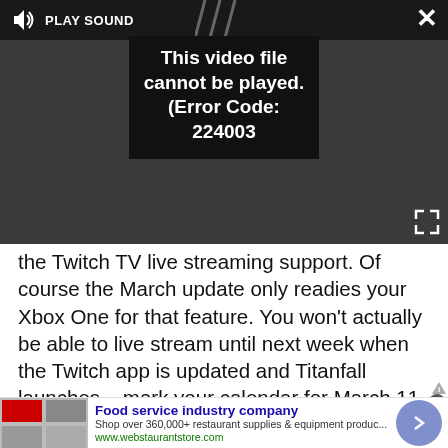[Figure (screenshot): Video player showing error: 'This video file cannot be played. (Error Code: 224003)' with PLAY SOUND controls and close/expand buttons on dark background]
the Twitch TV live streaming support. Of course the March update only readies your Xbox One for that feature. You won't actually be able to live stream until next week when the Twitch app is updated and Titanfall launches – mark your calendar for March 11.
[Figure (screenshot): Advertisement placeholder box with label 'Advertisement']
[Figure (screenshot): Bottom banner ad for 'Food service industry company' - webstaurantstore.com, 'Shop over 360,000+ restaurant supplies & equipment produc...' with arrow button]